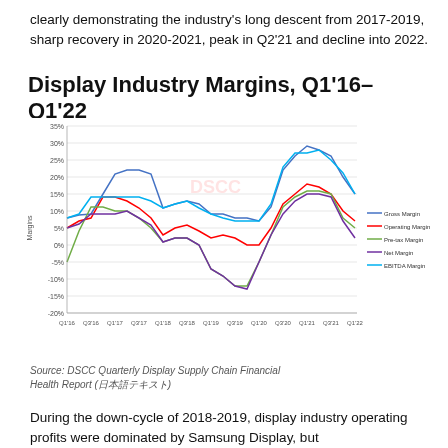clearly demonstrating the industry's long descent from 2017-2019, sharp recovery in 2020-2021, peak in Q2'21 and decline into 2022.
Display Industry Margins, Q1'16–Q1'22
[Figure (line-chart): Display Industry Margins, Q1'16–Q1'22]
Source: DSCC Quarterly Display Supply Chain Financial Health Report (日本語テキスト)
During the down-cycle of 2018-2019, display industry operating profits were dominated by Samsung Display, but